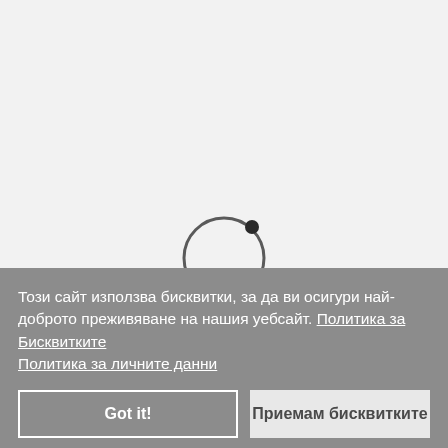[Figure (other): Loading spinner: a circle outline with a filled dark circle dot at the top-right, indicating a loading/spinning animation]
Този сайт използва бисквитки, за да ви осигури най-доброто преживяване на нашия уебсайт. Политика за Бисквитките Политика за личните данни
Got it!
Приемам бисквитките